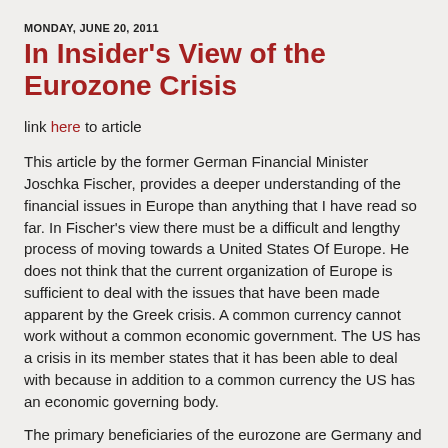MONDAY, JUNE 20, 2011
In Insider's View of the Eurozone Crisis
link here to article
This article by the former German Financial Minister Joschka Fischer, provides a deeper understanding of the financial issues in Europe than anything that I have read so far. In Fischer's view there must be a difficult and lengthy process of moving towards a United States Of Europe. He does not think that the current organization of Europe is sufficient to deal with the issues that have been made apparent by the Greek crisis. A common currency cannot work without a common economic government. The US has a crisis in its member states that it has been able to deal with because in addition to a common currency the US has an economic governing body.
The primary beneficiaries of the eurozone are Germany and France. The common currency allows Germany to run its...